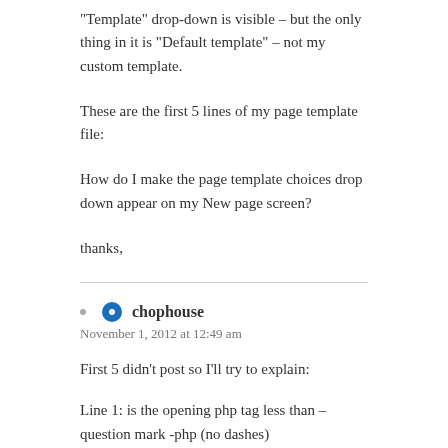“Template” drop-down is visible – but the only thing in it is “Default template” – not my custom template.
These are the first 5 lines of my page template file:
How do I make the page template choices drop down appear on my New page screen?
thanks,
chophouse
November 1, 2012 at 12:49 am
First 5 didn’t post so I’ll try to explain:
Line 1: is the opening php tag less than – question mark -php (no dashes)
Line 2: /*